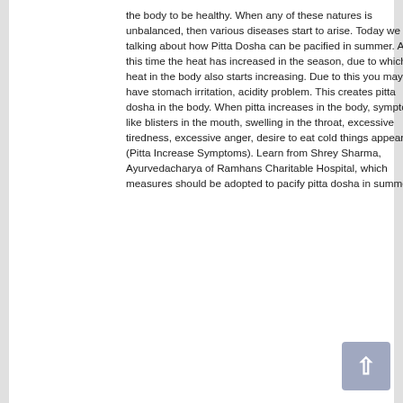the body to be healthy. When any of these natures is unbalanced, then various diseases start to arise. Today we are talking about how Pitta Dosha can be pacified in summer. At this time the heat has increased in the season, due to which the heat in the body also starts increasing. Due to this you may have stomach irritation, acidity problem. This creates pitta dosha in the body. When pitta increases in the body, symptoms like blisters in the mouth, swelling in the throat, excessive tiredness, excessive anger, desire to eat cold things appear (Pitta Increase Symptoms). Learn from Shrey Sharma, Ayurvedacharya of Ramhans Charitable Hospital, which measures should be adopted to pacify pitta dosha in summer.